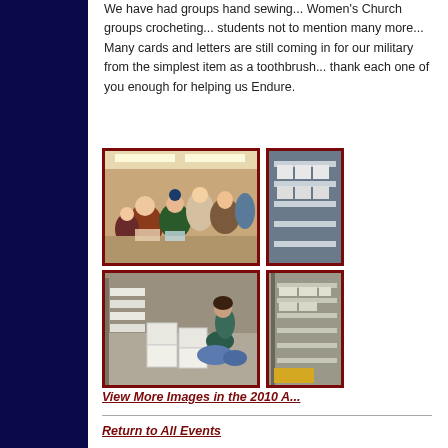We have had groups hand sewing... Women's Church groups crocheting... students not to mention many more... Many cards and letters are still coming in for our military from the simplest item as a toothbrush... thank each one of you enough for helping us Endure.
[Figure (photo): Group of people gathered around tables, appearing to be sorting or packing items in a large room with fluorescent lighting]
[Figure (photo): Partially visible warehouse shelving with stacked white boxes or crates]
[Figure (photo): Woman kneeling beside white boxes/crates in a warehouse or storage area]
[Figure (photo): Partially visible shelving unit with stacked white items in a warehouse]
View More Images in the 2010 A...
Return to All Events